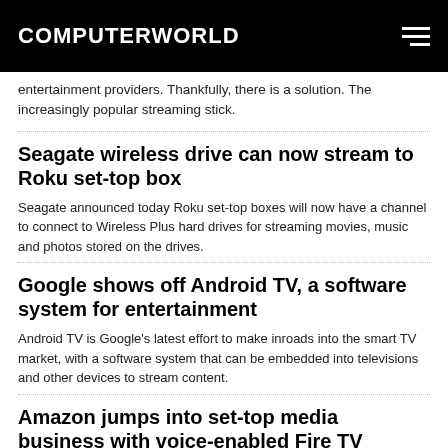COMPUTERWORLD
entertainment providers. Thankfully, there is a solution. The increasingly popular streaming stick.
Seagate wireless drive can now stream to Roku set-top box
Seagate announced today Roku set-top boxes will now have a channel to connect to Wireless Plus hard drives for streaming movies, music and photos stored on the drives.
Google shows off Android TV, a software system for entertainment
Android TV is Google's latest effort to make inroads into the smart TV market, with a software system that can be embedded into televisions and other devices to stream content.
Amazon jumps into set-top media business with voice-enabled Fire TV